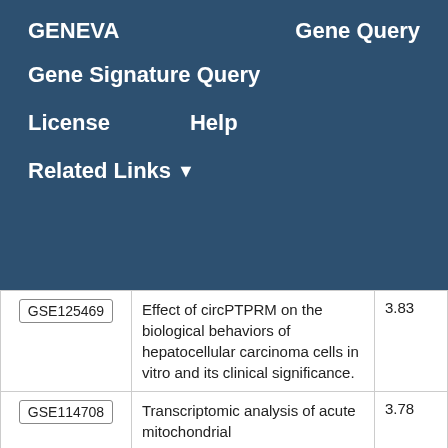GENEVA   Gene Query
Gene Signature Query
License   Help
Related Links ▼
| ID | Description | Score |
| --- | --- | --- |
| GSE125469 | Effect of circPTPRM on the biological behaviors of hepatocellular carcinoma cells in vitro and its clinical significance. | 3.83 |
| GSE114708 | Transcriptomic analysis of acute mitochondrial | 3.78 |